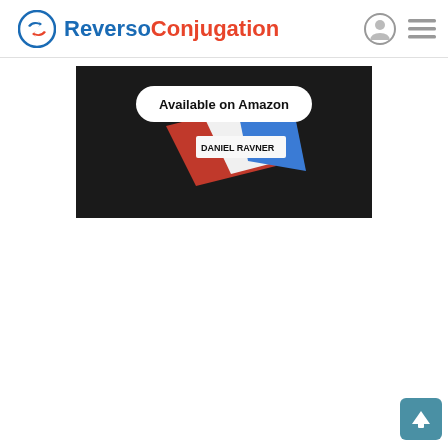Reverso Conjugation
[Figure (screenshot): Promotional banner showing a book/product with French flag colors (red, white, blue) and text 'DANIEL RAVNER'. A white rounded pill button reads 'Available on Amazon'. Background is dark/black.]
[Figure (other): Scroll-to-top button (teal/blue square with upward arrow) in bottom-right corner]